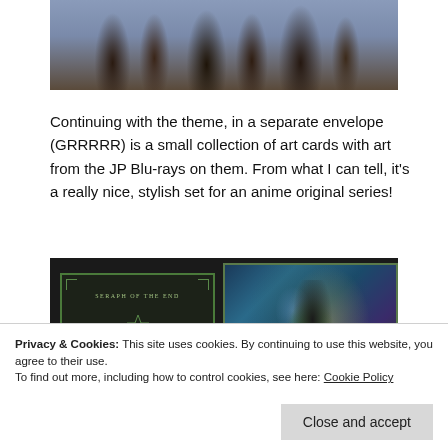[Figure (photo): Screenshot from an anime series showing multiple characters gathered around a table in a dark, atmospheric setting]
Continuing with the theme, in a separate envelope (GRRRRR) is a small collection of art cards with art from the JP Blu-rays on them. From what I can tell, it’s a really nice, stylish set for an anime original series!
[Figure (photo): Photograph of art cards on a dark surface. Left card shows a dark green bordered card labeled 'SERAPH OF THE END' with a decorative emblem. Right card shows colorful character artwork.]
Privacy & Cookies: This site uses cookies. By continuing to use this website, you agree to their use.
To find out more, including how to control cookies, see here: Cookie Policy
Close and accept